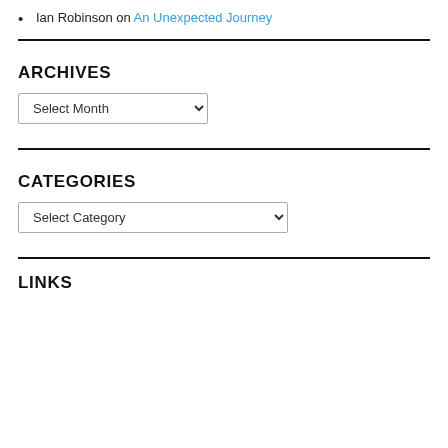Ian Robinson on An Unexpected Journey
ARCHIVES
Select Month (dropdown)
CATEGORIES
Select Category (dropdown)
LINKS